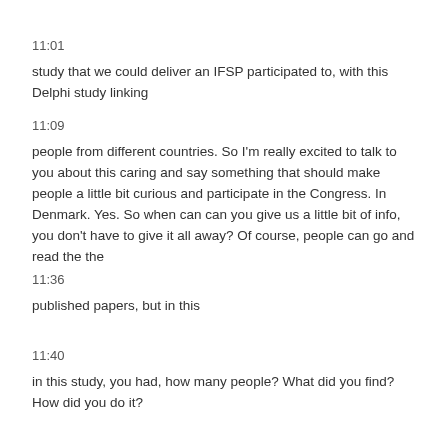11:01
study that we could deliver an IFSP participated to, with this Delphi study linking
11:09
people from different countries. So I'm really excited to talk to you about this caring and say something that should make people a little bit curious and participate in the Congress. In Denmark. Yes. So when can can you give us a little bit of info, you don't have to give it all away? Of course, people can go and read the the
11:36
published papers, but in this
11:40
in this study, you had, how many people? What did you find? How did you do it?